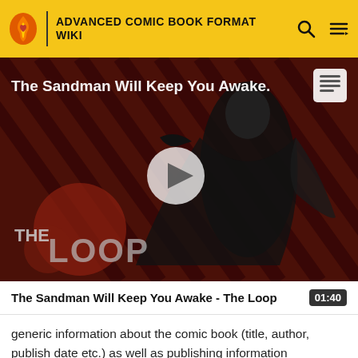ADVANCED COMIC BOOK FORMAT WIKI
[Figure (screenshot): Video thumbnail showing a figure in black clothing against a red diagonal stripe background with 'THE LOOP' logo overlay. Title reads 'The Sandman Will Keep You Awake.' with a play button in the center.]
The Sandman Will Keep You Awake - The Loop  01:40
generic information about the comic book (title, author, publish date etc.) as well as publishing information (publisher, publish date) and information about particular